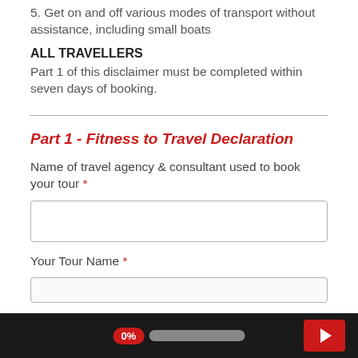5. Get on and off various modes of transport without assistance, including small boats
ALL TRAVELLERS
Part 1 of this disclaimer must be completed within seven days of booking.
Part 1 - Fitness to Travel Declaration
Name of travel agency & consultant used to book your tour *
Your Tour Name *
0%